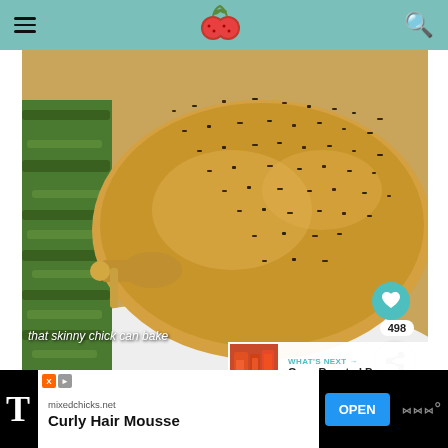Website header with hamburger menu, logo (two red berries), and search icon on teal background
[Figure (photo): Close-up photo of a roasted herb-crusted chicken on a white plate with fresh thyme/rosemary garnish, covered in dark herb seasoning]
that skinny chick can bake
WHAT'S NEXT → Oven Roasted Peppers
[Figure (photo): Small thumbnail of oven roasted peppers dish]
mixedchicks.net
Curly Hair Mousse
OPEN